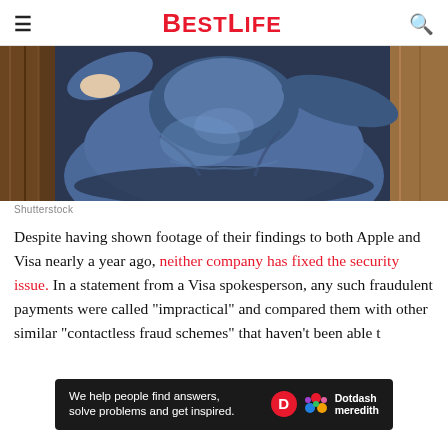BestLife
[Figure (photo): Overhead view of a person in a blue hoodie/jacket sitting hunched over, viewed from above on a wooden floor]
Shutterstock
Despite having shown footage of their findings to both Apple and Visa nearly a year ago, neither company has fixed the security issue. In a statement from a Visa spokesperson, any such fraudulent payments were called "impractical" and compared them with other similar "contactless fraud schemes" that haven't been able to decade
[Figure (infographic): Dotdash Meredith advertisement banner: We help people find answers, solve problems and get inspired.]